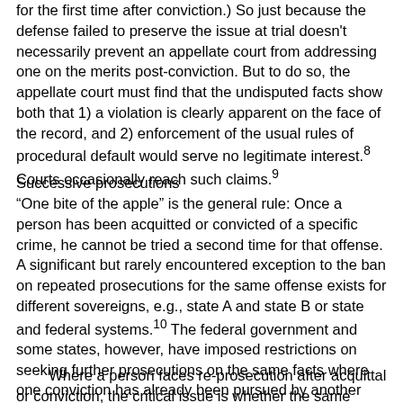for the first time after conviction.) So just because the defense failed to preserve the issue at trial doesn't necessarily prevent an appellate court from addressing one on the merits post-conviction. But to do so, the appellate court must find that the undisputed facts show both that 1) a violation is clearly apparent on the face of the record, and 2) enforcement of the usual rules of procedural default would serve no legitimate interest.8 Courts occasionally reach such claims.9
Successive prosecutions
“One bite of the apple” is the general rule: Once a person has been acquitted or convicted of a specific crime, he cannot be tried a second time for that offense. A significant but rarely encountered exception to the ban on repeated prosecutions for the same offense exists for different sovereigns, e.g., state A and state B or state and federal systems.10 The federal government and some states, however, have imposed restrictions on seeking further prosecutions on the same facts where one conviction has already been pursued by another jurisdiction.
Where a person faces re-prosecution after acquittal or conviction, the critical issue is whether the same offense is